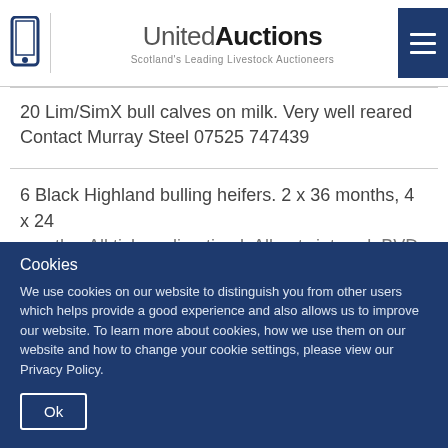United Auctions — Scotland's Leading Livestock Auctioneers
20 Lim/SimX bull calves on milk. Very well reared
Contact Murray Steel 07525 747439
6 Black Highland bulling heifers. 2 x 36 months, 4 x 24 months. All tick acclimatised. All outwintered. BVD. L ote
Cookies
We use cookies on our website to distinguish you from other users which helps provide a good experience and also allows us to improve our website. To learn more about cookies, how we use them on our website and how to change your cookie settings, please view our Privacy Policy.
Ok